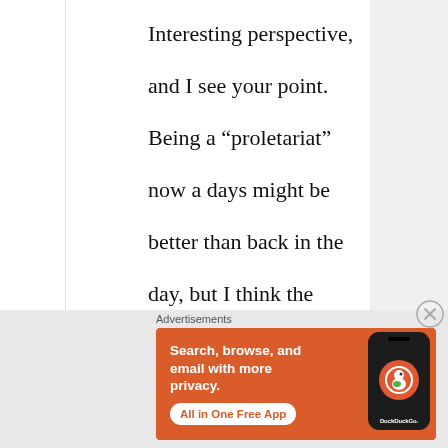Interesting perspective, and I see your point. Being a “proletariat” now a days might be better than back in the day, but I think the important takeaway from it for me was that the quality of life between the upper class
Advertisements
[Figure (other): DuckDuckGo advertisement banner with orange background. Text reads: Search, browse, and email with more privacy. All in One Free App. Shows a phone mockup with DuckDuckGo logo.]